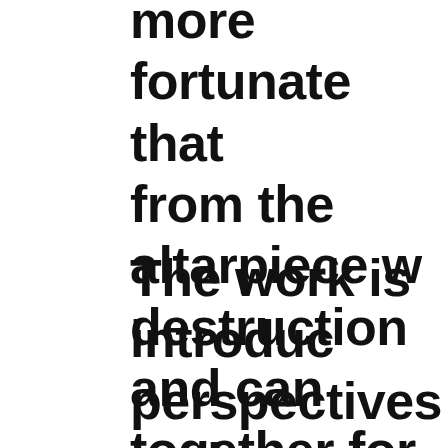more fortunate that from the altarpiece w destruction and can together for the first
The work is introduc perspectives and se narrative" outlining t context, the art of co